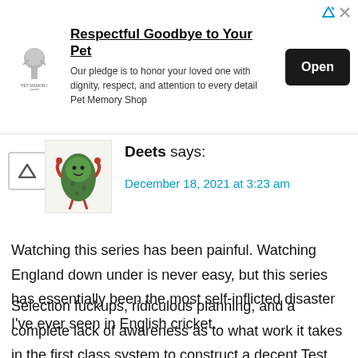[Figure (screenshot): Advertisement banner for Pet Memory Shop. Shows a logo, title 'Respectful Goodbye to Your Pet', body text about honoring loved ones with dignity and respect, and an Open button.]
Deets says:
December 18, 2021 at 3:23 am
Watching this series has been painful. Watching England down under is never easy, but this series has essentially been the most self-inflicted disaster I've ever seen in English cricket.
Selection fuckups, ridiculous planning, and a complete lack of awareness as to what work it takes in the first class system to construct a decent Test side.